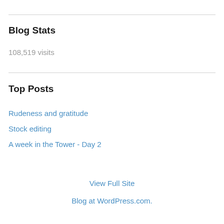Blog Stats
108,519 visits
Top Posts
Rudeness and gratitude
Stock editing
A week in the Tower - Day 2
View Full Site
Blog at WordPress.com.